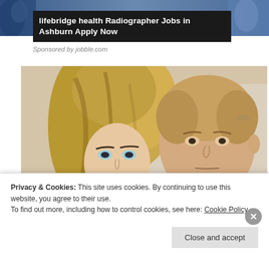[Figure (photo): Top banner ad showing partial background image with people]
lifebridge health Radiographer Jobs in Ashburn Apply Now
Sponsored by jobble.com
[Figure (photo): Photograph of two people, a woman with long blonde hair and a man in a dark suit, in a formal setting]
Privacy & Cookies: This site uses cookies. By continuing to use this website, you agree to their use.
To find out more, including how to control cookies, see here: Cookie Policy
Close and accept